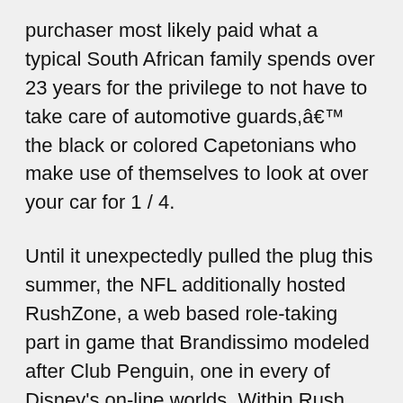purchaser most likely paid what a typical South African family spends over 23 years for the privilege to not have to take care of automotive guards,â€™ the black or colored Capetonians who make use of themselves to look at over your car for 1 / 4.
Until it unexpectedly pulled the plug this summer, the NFL additionally hosted RushZone, a web based role-taking part in game that Brandissimo modeled after Club Penguin, one in every of Disney's on-line worlds. Within Rush Zone, children had been capable of go to varied landsâ€™ of